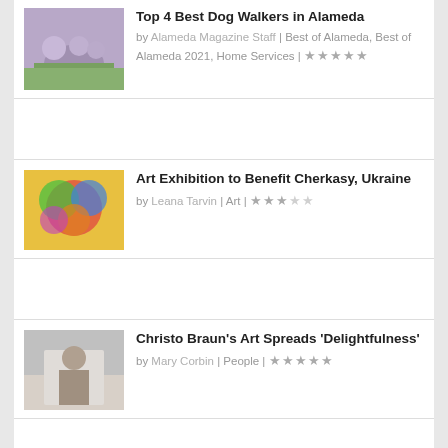Top 4 Best Dog Walkers in Alameda by Alameda Magazine Staff | Best of Alameda, Best of Alameda 2021, Home Services | ★★★★★
Art Exhibition to Benefit Cherkasy, Ukraine by Leana Tarvin | Art | ★★★☆☆
Christo Braun's Art Spreads 'Delightfulness' by Mary Corbin | People | ★★★★★
Swimmer Craig Coombs Circles Alameda in Record Time by Francesco Guerrieri | People | ★★★★☆